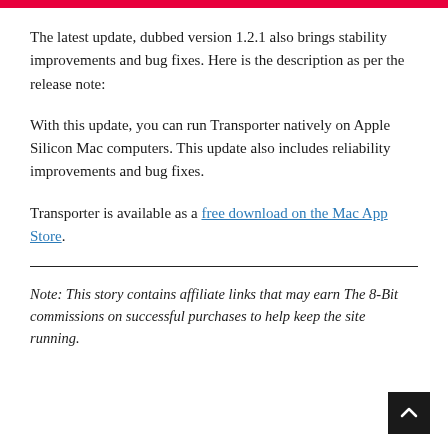The latest update, dubbed version 1.2.1 also brings stability improvements and bug fixes. Here is the description as per the release note:
With this update, you can run Transporter natively on Apple Silicon Mac computers. This update also includes reliability improvements and bug fixes.
Transporter is available as a free download on the Mac App Store.
Note: This story contains affiliate links that may earn The 8-Bit commissions on successful purchases to help keep the site running.